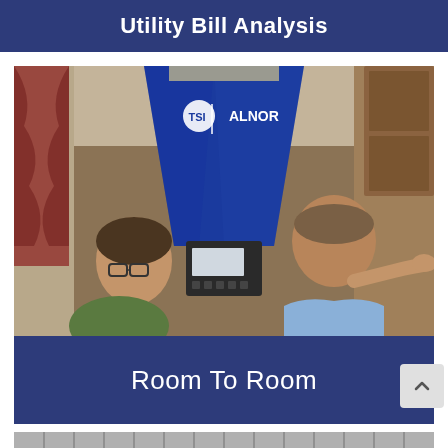Utility Bill Analysis
[Figure (photo): Two people examining an ALNOR (TSI brand) air flow measurement device (blue hood/balometer) mounted on a ceiling vent in a residential home. One person on the left wears glasses and the other on the right in a light blue shirt is pointing at the device display.]
Room To Room
[Figure (photo): Partial bottom strip showing what appears to be another image below]